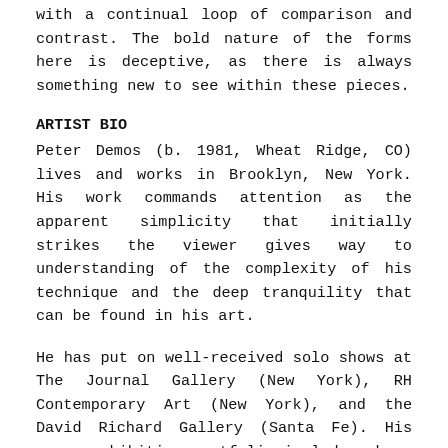with a continual loop of comparison and contrast. The bold nature of the forms here is deceptive, as there is always something new to see within these pieces.
ARTIST BIO
Peter Demos (b. 1981, Wheat Ridge, CO) lives and works in Brooklyn, New York. His work commands attention as the apparent simplicity that initially strikes the viewer gives way to understanding of the complexity of his technique and the deep tranquility that can be found in his art.
He has put on well-received solo shows at The Journal Gallery (New York), RH Contemporary Art (New York), and the David Richard Gallery (Santa Fe). His group exhibition portfolio includes shows at the Eric Firestone Gallery (New York), CCA Andratx (Mallorca, Spain), and the Munkeruphus Museum (Denmark). Peter was awarded the CCA Andratx Studio Residency in Mallorca, Spain in